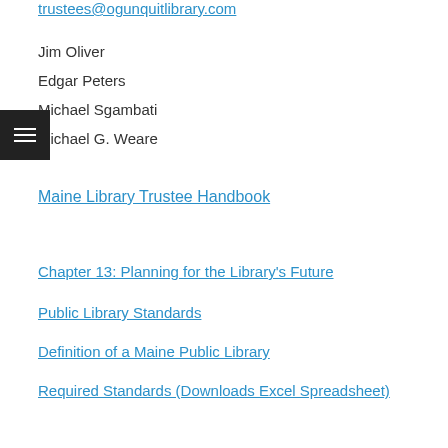trustees@ogunquitlibrary.com
Jim Oliver
Edgar Peters
Michael Sgambati
Michael G. Weare
Maine Library Trustee Handbook
Chapter 13: Planning for the Library's Future
Public Library Standards
Definition of a Maine Public Library
Required Standards (Downloads Excel Spreadsheet)